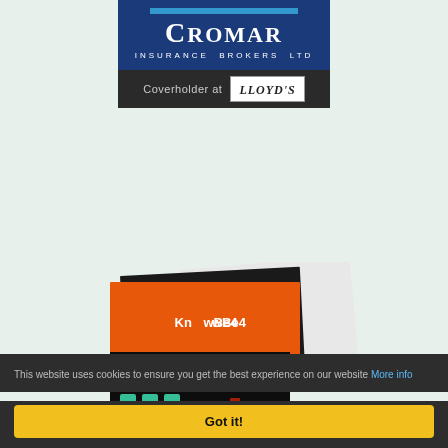[Figure (logo): Cromar Insurance Brokers Ltd logo — white text on dark blue background with 'Coverholder at Lloyd's' bar below]
[Figure (photo): Stack of KnowBe4 branded booklets/brochures with orange cover and teal keyboard pattern]
This website uses cookies to ensure you get the best experience on our website More info
Got it!